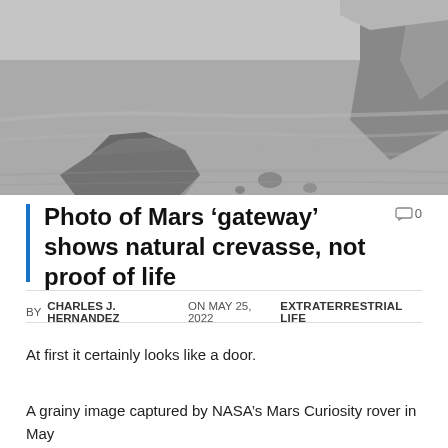[Figure (photo): Black and white photograph taken by NASA's Mars Curiosity rover showing rocky Martian surface terrain with rocks and sandy ground]
Photo of Mars 'gateway' shows natural crevasse, not proof of life
BY CHARLES J. HERNANDEZ ON MAY 25, 2022   EXTRATERRESTRIAL LIFE
At first it certainly looks like a door.
A grainy image captured by NASA's Mars Curiosity rover in May